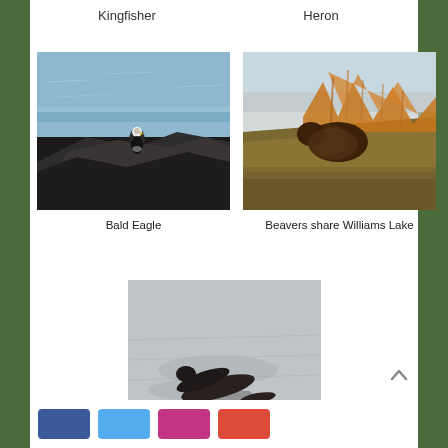Kingfisher
Heron
[Figure (photo): Bald Eagle perched on dark rocks by water]
Bald Eagle
[Figure (photo): Beaver on a grassy bank near water with orange dry grasses]
Beavers share Williams Lake
[Figure (photo): Mink swimming/moving among rocks near water]
Mink